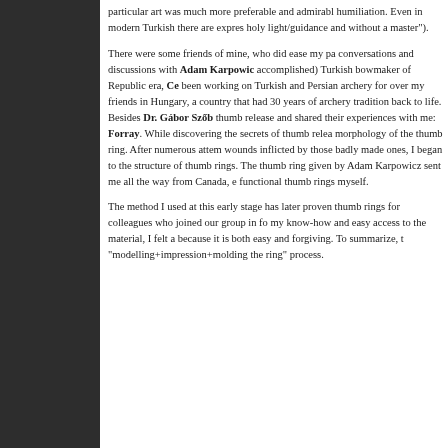particular art was much more preferable and admirable than humiliation. Even in modern Turkish there are expressions like holy light/guidance and without a master").
There were some friends of mine, who did ease my path by conversations and discussions with Adam Karpowicz (a most accomplished) Turkish bowmaker of Republic era, Ce been working on Turkish and Persian archery for over my friends in Hungary, a country that had 30 years of archery tradition back to life. Besides Dr. Gábor Szőb thumb release and shared their experiences with me: Forray. While discovering the secrets of thumb relea morphology of the thumb ring. After numerous attem wounds inflicted by those badly made ones, I began to the structure of thumb rings. The thumb ring given by Adam Karpowicz sent me all the way from Canada, e functional thumb rings myself.
The method I used at this early stage has later proven thumb rings for colleagues who joined our group in fo my know-how and easy access to the material, I felt a because it is both easy and forgiving. To summarize, t "modelling+impression+molding the ring" process.